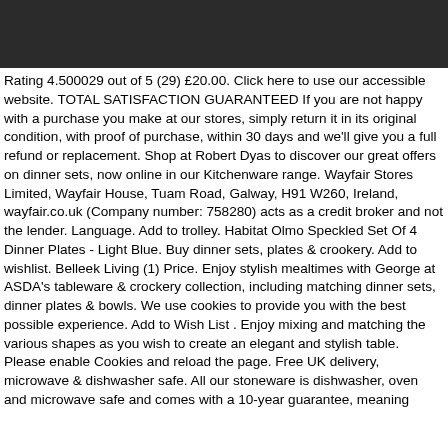[Figure (other): Dark header bar at the top of the page]
Rating 4.500029 out of 5 (29) £20.00. Click here to use our accessible website. TOTAL SATISFACTION GUARANTEED If you are not happy with a purchase you make at our stores, simply return it in its original condition, with proof of purchase, within 30 days and we'll give you a full refund or replacement. Shop at Robert Dyas to discover our great offers on dinner sets, now online in our Kitchenware range. Wayfair Stores Limited, Wayfair House, Tuam Road, Galway, H91 W260, Ireland, wayfair.co.uk (Company number: 758280) acts as a credit broker and not the lender. Language. Add to trolley. Habitat Olmo Speckled Set Of 4 Dinner Plates - Light Blue. Buy dinner sets, plates & crookery. Add to wishlist. Belleek Living (1) Price. Enjoy stylish mealtimes with George at ASDA's tableware & crockery collection, including matching dinner sets, dinner plates & bowls. We use cookies to provide you with the best possible experience. Add to Wish List . Enjoy mixing and matching the various shapes as you wish to create an elegant and stylish table. Please enable Cookies and reload the page. Free UK delivery, microwave & dishwasher safe. All our stoneware is dishwasher, oven and microwave safe and comes with a 10-year guarantee, meaning